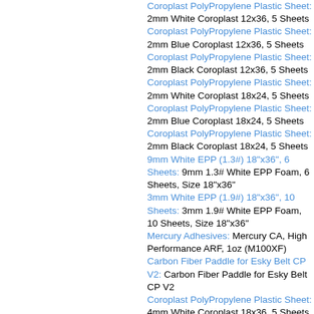Coroplast PolyPropylene Plastic Sheet: 2mm White Coroplast 12x36, 5 Sheets
Coroplast PolyPropylene Plastic Sheet: 2mm Blue Coroplast 12x36, 5 Sheets
Coroplast PolyPropylene Plastic Sheet: 2mm Black Coroplast 12x36, 5 Sheets
Coroplast PolyPropylene Plastic Sheet: 2mm White Coroplast 18x24, 5 Sheets
Coroplast PolyPropylene Plastic Sheet: 2mm Blue Coroplast 18x24, 5 Sheets
Coroplast PolyPropylene Plastic Sheet: 2mm Black Coroplast 18x24, 5 Sheets
9mm White EPP (1.3#) 18"x36", 6 Sheets: 9mm 1.3# White EPP Foam, 6 Sheets, Size 18"x36"
3mm White EPP (1.9#) 18"x36", 10 Sheets: 3mm 1.9# White EPP Foam, 10 Sheets, Size 18"x36"
Mercury Adhesives: Mercury CA, High Performance ARF, 1oz (M100XF)
Carbon Fiber Paddle for Esky Belt CP V2: Carbon Fiber Paddle for Esky Belt CP V2
Coroplast PolyPropylene Plastic Sheet: 4mm White Coroplast 18x36, 5 Sheets
Coroplast PolyPropylene Plastic Sheet: 4mm Blue Coroplast 18x36, 5 Sheets
Coroplast PolyPropylene Plastic Sheet: 4mm Black Coroplast 18x36, 5 Sheets
Flatfoilz Edge 540: Flatfoilz Edge 540
3mm White EPP (1.9#) 12"x36", 10 Sheets: 3mm 1.9# White EPP Foam, 10 Sheets, Size 12"x36"